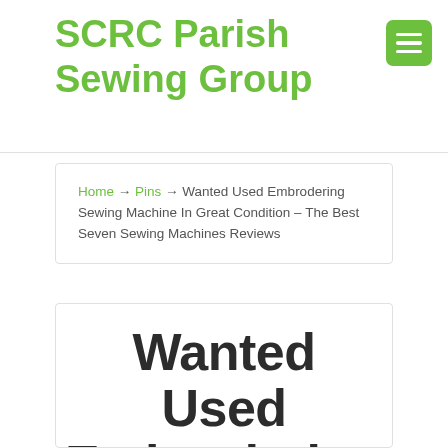SCRC Parish Sewing Group
Home → Pins → Wanted Used Embrodering Sewing Machine In Great Condition – The Best Seven Sewing Machines Reviews
Wanted Used Embrodering Sewing Machine In